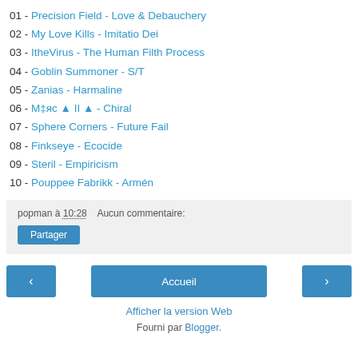01 - Precision Field - Love & Debauchery
02 - My Love Kills - Imitatio Dei
03 - ItheVirus - The Human Filth Process
04 - Goblin Summoner - S/T
05 - Zanias - Harmaline
06 - M‡яс ▲ II ▲  - Chiral
07 - Sphere Corners - Future Fail
08 - Finkseye - Ecocide
09 - Steril - Empiricism
10 - Pouppee Fabrikk - Armén
popman à 10:28   Aucun commentaire:
Partager
‹   Accueil   ›
Afficher la version Web
Fourni par Blogger.